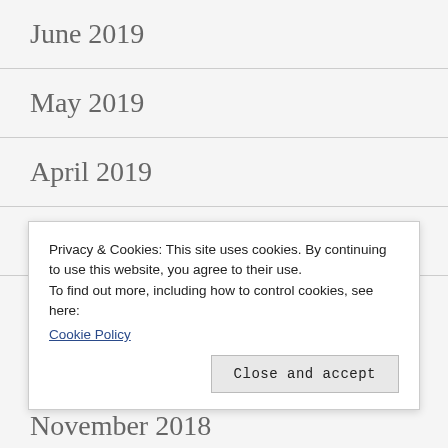June 2019
May 2019
April 2019
March 2019
January 2019
Privacy & Cookies: This site uses cookies. By continuing to use this website, you agree to their use.
To find out more, including how to control cookies, see here:
Cookie Policy
Close and accept
November 2018